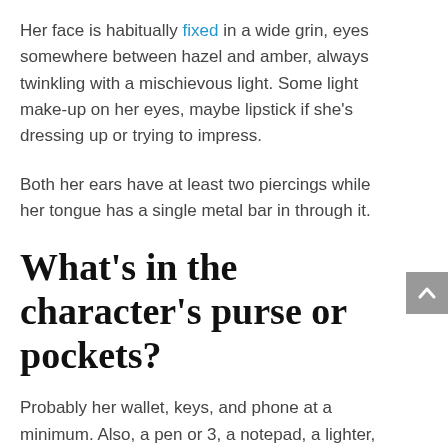Her face is habitually fixed in a wide grin, eyes somewhere between hazel and amber, always twinkling with a mischievous light. Some light make-up on her eyes, maybe lipstick if she's dressing up or trying to impress.
Both her ears have at least two piercings while her tongue has a single metal bar in through it.
What's in the character's purse or pockets?
Probably her wallet, keys, and phone at a minimum. Also, a pen or 3, a notepad, a lighter, coins distributed through pockets,